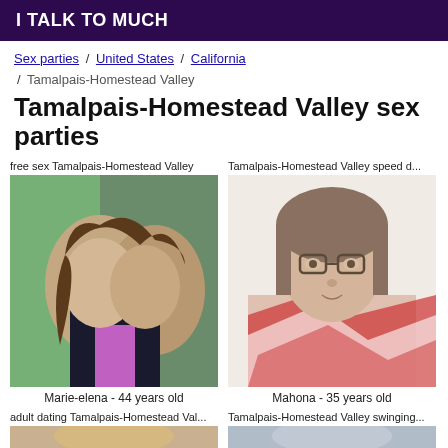I TALK TO MUCH
Sex parties / United States / California / Tamalpais-Homestead Valley
Tamalpais-Homestead Valley sex parties
free sex Tamalpais-Homestead Valley
[Figure (photo): Two women kissing, one wearing green hoodie, other in black and pink top]
Marie-elena - 44 years old
Tamalpais-Homestead Valley speed d...
[Figure (photo): Woman with glasses wearing red, white and black patterned top, selfie photo]
Mahona - 35 years old
adult dating Tamalpais-Homestead Val...
Tamalpais-Homestead Valley swinging...